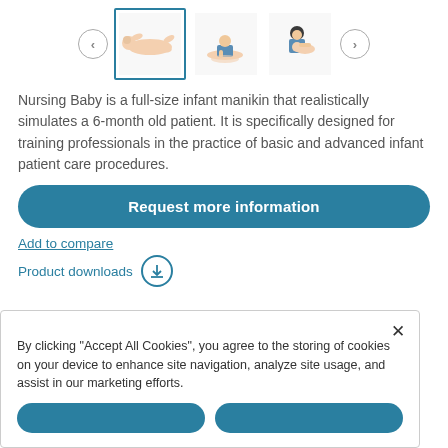[Figure (photo): Product thumbnail navigation showing infant manikin images with left/right nav arrows. First thumbnail selected with teal border showing baby lying down. Second thumbnail shows person performing CPR on infant. Third thumbnail shows person checking infant. Right nav arrow.]
Nursing Baby is a full-size infant manikin that realistically simulates a 6-month old patient.  It is specifically designed for training professionals in the practice of basic and advanced infant patient care procedures.
Request more information
Add to compare
Product downloads
By clicking "Accept All Cookies", you agree to the storing of cookies on your device to enhance site navigation, analyze site usage, and assist in our marketing efforts.